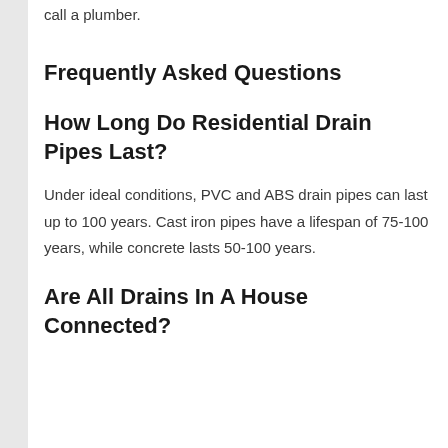call a plumber.
Frequently Asked Questions
How Long Do Residential Drain Pipes Last?
Under ideal conditions, PVC and ABS drain pipes can last up to 100 years. Cast iron pipes have a lifespan of 75-100 years, while concrete lasts 50-100 years.
Are All Drains In A House Connected?